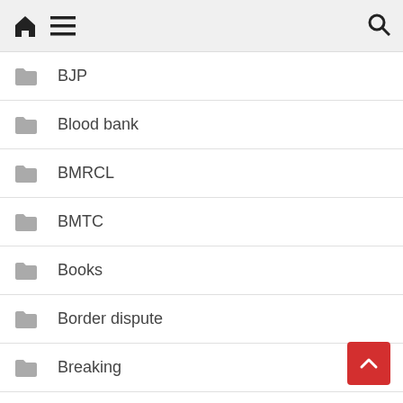Home menu search
BJP
Blood bank
BMRCL
BMTC
Books
Border dispute
Breaking
Breaking news
Breast Cancer
BTS
Budget
burnout